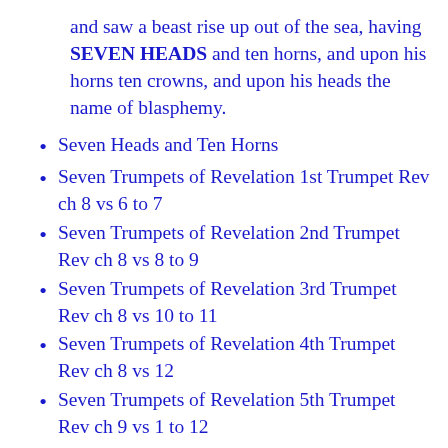and saw a beast rise up out of the sea, having SEVEN HEADS and ten horns, and upon his horns ten crowns, and upon his heads the name of blasphemy.
Seven Heads and Ten Horns
Seven Trumpets of Revelation 1st Trumpet Rev ch 8 vs 6 to 7
Seven Trumpets of Revelation 2nd Trumpet Rev ch 8 vs 8 to 9
Seven Trumpets of Revelation 3rd Trumpet Rev ch 8 vs 10 to 11
Seven Trumpets of Revelation 4th Trumpet Rev ch 8 vs 12
Seven Trumpets of Revelation 5th Trumpet Rev ch 9 vs 1 to 12
Seven Trumpets of Revelation 6th Trumpet